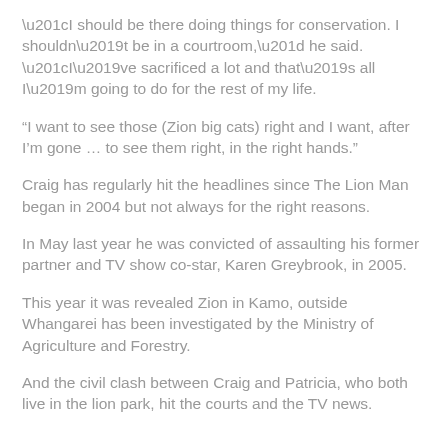“I should be there doing things for conservation. I shouldn’t be in a courtroom,” he said.
“I’ve sacrificed a lot and that’s all I’m going to do for the rest of my life.
“I want to see those (Zion big cats) right and I want, after I’m gone … to see them right, in the right hands.”
Craig has regularly hit the headlines since The Lion Man began in 2004 but not always for the right reasons.
In May last year he was convicted of assaulting his former partner and TV show co-star, Karen Greybrook, in 2005.
This year it was revealed Zion in Kamo, outside Whangarei has been investigated by the Ministry of Agriculture and Forestry.
And the civil clash between Craig and Patricia, who both live in the lion park, hit the courts and the TV news.